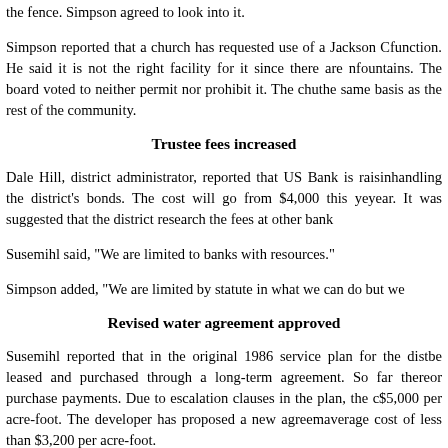the fence. Simpson agreed to look into it.
Simpson reported that a church has requested use of a Jackson County function. He said it is not the right facility for it since there are no drinking fountains. The board voted to neither permit nor prohibit it. The church will be on the same basis as the rest of the community.
Trustee fees increased
Dale Hill, district administrator, reported that US Bank is raising fees for handling the district's bonds. The cost will go from $4,000 this year to $6,000 next year. It was suggested that the district research the fees at other banks.
Susemihl said, "We are limited to banks with resources."
Simpson added, "We are limited by statute in what we can do but we
Revised water agreement approved
Susemihl reported that in the original 1986 service plan for the district, water to be leased and purchased through a long-term agreement. So far there have been no lease or purchase payments. Due to escalation clauses in the plan, the cost is now about $5,000 per acre-foot. The developer has proposed a new agreement that would give an average cost of less than $3,200 per acre-foot.
Simpson said, "[The revised agreement] is to our advantage. It lowers the cost to $9 million. We have got to get rid of the 1986 agreement."